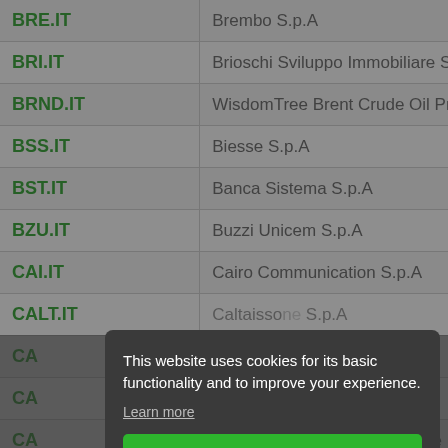| Symbol | Name |
| --- | --- |
| BRE.IT | Brembo S.p.A |
| BRI.IT | Brioschi Sviluppo Immobiliare S.p… |
| BRND.IT | WisdomTree Brent Crude Oil Pre-… |
| BSS.IT | Biesse S.p.A |
| BST.IT | Banca Sistema S.p.A |
| BZU.IT | Buzzi Unicem S.p.A |
| CAI.IT | Cairo Communication S.p.A |
| CALT.IT | Caltaisso… S.p.A |
| CA… |  |
| CA… |  |
| CA… | …ne |
| CB… |  |
| CRK.IT | Commerzbank AG |
This website uses cookies for its basic functionality and to improve your experience. Learn more